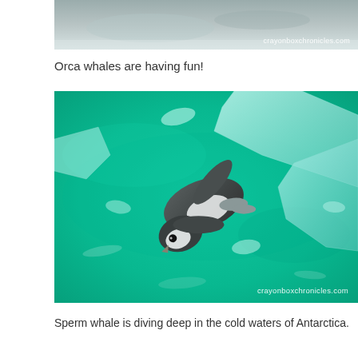[Figure (photo): Partial top photo strip showing a blurred orca or marine scene with crayonboxchronicles.com watermark]
Orca whales are having fun!
[Figure (photo): A penguin toy or figurine floating in green/teal water with chunks of ice, photographed from above. Watermark reads crayonboxchronicles.com]
Sperm whale is diving deep in the cold waters of Antarctica.